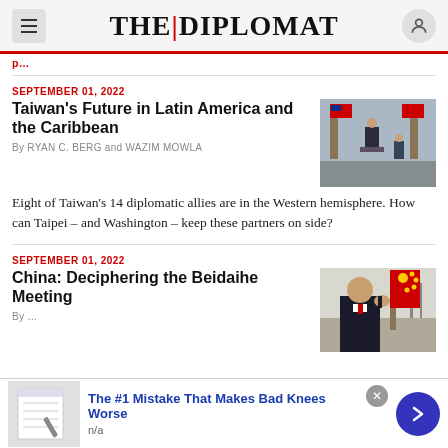THE DIPLOMAT
SEPTEMBER 01, 2022
Taiwan's Future in Latin America and the Caribbean
By RYAN C. BERG and WAZIM MOWLA
[Figure (photo): Official ceremony photo with person at podium and Taiwan flags]
Eight of Taiwan's 14 diplomatic allies are in the Western hemisphere. How can Taipei – and Washington – keep these partners on side?
SEPTEMBER 01, 2022
China: Deciphering the Beidaihe Meeting
[Figure (photo): Xi Jinping waving with red flags in background]
The #1 Mistake That Makes Bad Knees Worse
n/a